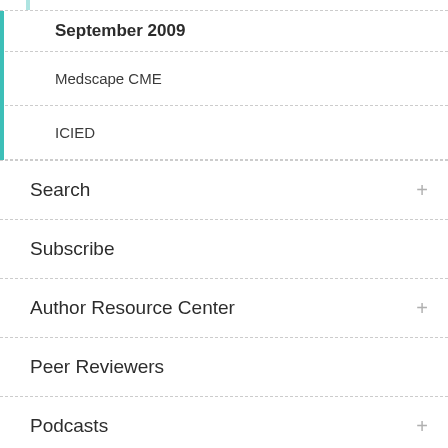September 2009
Medscape CME
ICIED
Search
Subscribe
Author Resource Center
Peer Reviewers
Podcasts
Social Media